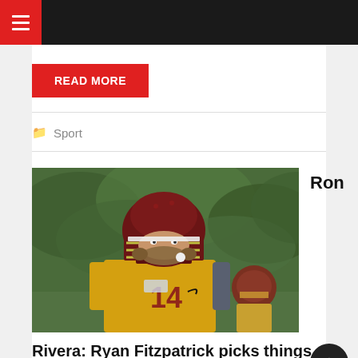Navigation bar with hamburger menu
READ MORE
Sport
[Figure (photo): Ryan Fitzpatrick wearing a yellow Washington Football Team practice jersey with number 14 and a maroon helmet, standing on a practice field with a blurred green background. A second player in a similar helmet is partially visible in the background.]
Ron
Rivera: Ryan Fitzpatrick picks things up very quickly